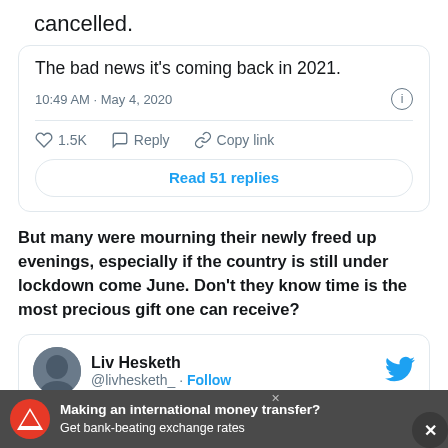cancelled.
The bad news it's coming back in 2021.
10:49 AM · May 4, 2020
1.5K   Reply   Copy link
Read 51 replies
But many were mourning their newly freed up evenings, especially if the country is still under lockdown come June. Don't they know time is the most precious gift one can receive?
Liv Hesketh @livhesketh_ · Follow
Making an international money transfer? Get bank-beating exchange rates